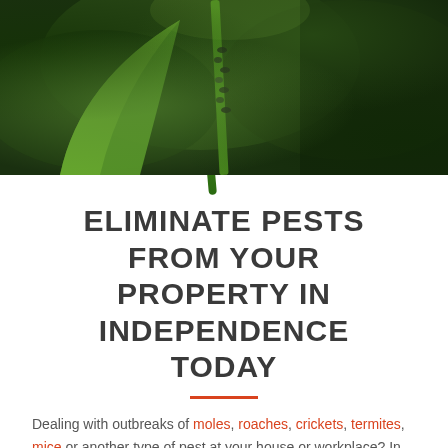[Figure (photo): Close-up photo of insects (aphids) on a green plant stem against a dark green background]
ELIMINATE PESTS FROM YOUR PROPERTY IN INDEPENDENCE TODAY
Dealing with outbreaks of moles, roaches, crickets, termites, mice or another type of pest at your house or workplace? In need of end of lease pest control services or pest control for a strata management property? You should be at your property as soon as possible call to get...